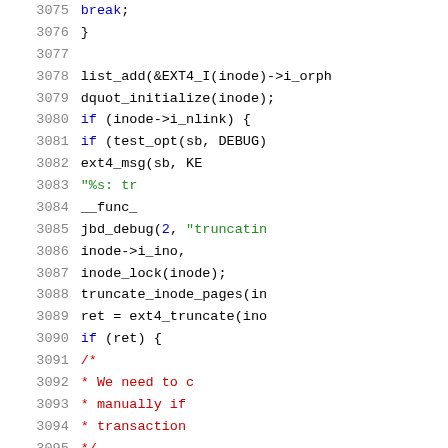[Figure (other): Source code listing (C kernel code) with line numbers 3075-3095, showing syntax-highlighted code with keywords in blue, strings in green, and comments in red.]